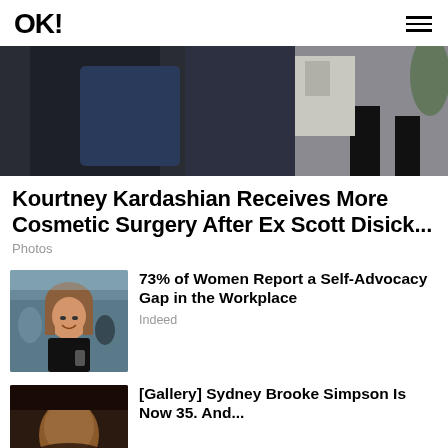OK!
[Figure (photo): Cropped photo of people walking outdoors, showing lower bodies and dark clothing, with a bright background]
Kourtney Kardashian Receives More Cosmetic Surgery After Ex Scott Disick...
Photos
[Figure (photo): Woman with brown hair holding a phone in an office environment, smiling]
73% of Women Report a Self-Advocacy Gap in the Workplace
Indeed
[Figure (photo): Partial photo of a person, cropped at bottom of page, dark tones]
[Gallery] Sydney Brooke Simpson Is Now 35. And...